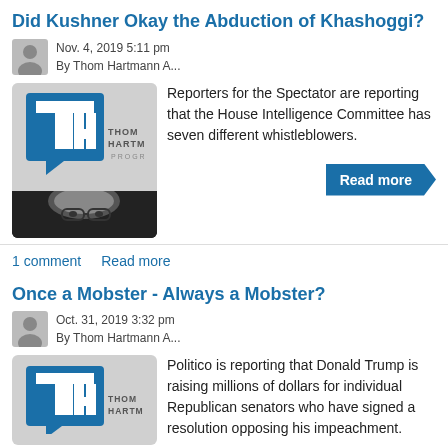Did Kushner Okay the Abduction of Khashoggi?
Nov. 4, 2019 5:11 pm
By Thom Hartmann A...
[Figure (logo): Thom Hartmann Program logo with TH monogram and host photo]
Reporters for the Spectator are reporting that the House Intelligence Committee has seven different whistleblowers.
Read more
1 comment   Read more
Once a Mobster - Always a Mobster?
Oct. 31, 2019 3:32 pm
By Thom Hartmann A...
[Figure (logo): Thom Hartmann Program logo with TH monogram]
Politico is reporting that Donald Trump is raising millions of dollars for individual Republican senators who have signed a resolution opposing his impeachment.